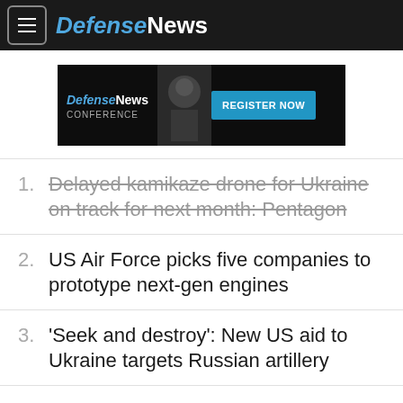DefenseNews
[Figure (other): Defense News Conference advertisement banner with 'REGISTER NOW' button]
1. Delayed kamikaze drone for Ukraine on track for next month: Pentagon
2. US Air Force picks five companies to prototype next-gen engines
3. 'Seek and destroy': New US aid to Ukraine targets Russian artillery
4. How far has the US Navy come since the McCain